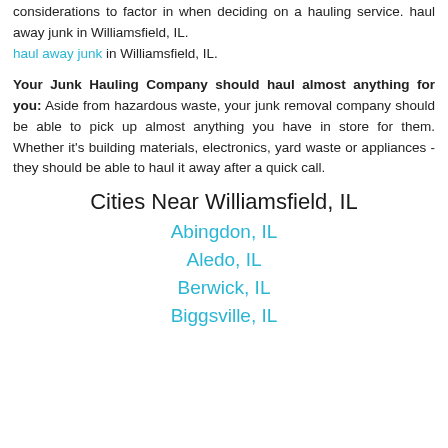considerations to factor in when deciding on a hauling service. haul away junk in Williamsfield, IL. haul away junk in Williamsfield, IL.
Your Junk Hauling Company should haul almost anything for you: Aside from hazardous waste, your junk removal company should be able to pick up almost anything you have in store for them. Whether it's building materials, electronics, yard waste or appliances - they should be able to haul it away after a quick call.
Cities Near Williamsfield, IL
Abingdon, IL
Aledo, IL
Berwick, IL
Biggsville, IL